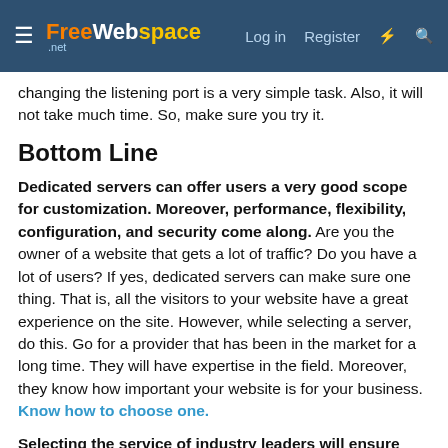FreeWebSpace.net — Log in  Register
changing the listening port is a very simple task. Also, it will not take much time. So, make sure you try it.
Bottom Line
Dedicated servers can offer users a very good scope for customization. Moreover, performance, flexibility, configuration, and security come along. Are you the owner of a website that gets a lot of traffic? Do you have a lot of users? If yes, dedicated servers can make sure one thing. That is, all the visitors to your website have a great experience on the site. However, while selecting a server, do this. Go for a provider that has been in the market for a long time. They will have expertise in the field. Moreover, they know how important your website is for your business. Know how to choose one.
Selecting the service of industry leaders will ensure one thing. That you have a smooth switching to dedicated hosting. Moreover, dedicated servers from HostSailor will ensure these. Your site is secure, fast, and reliable. HostSailor